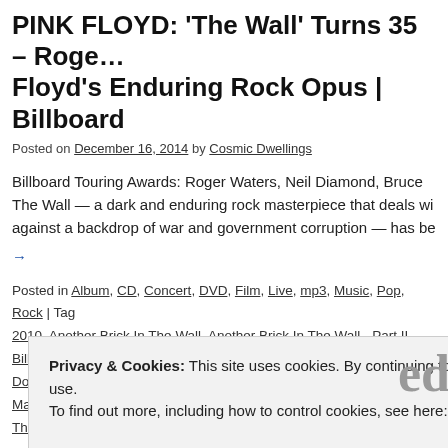PINK FLOYD: 'The Wall' Turns 35 – Roger Floyd's Enduring Rock Opus | Billboard
Posted on December 16, 2014 by Cosmic Dwellings
Billboard Touring Awards: Roger Waters, Neil Diamond, Bruce The Wall — a dark and enduring rock masterpiece that deals wi against a backdrop of war and government corruption — has be
→
Posted in Album, CD, Concert, DVD, Film, Live, mp3, Music, Pop, Rock | Tag 2010, Another Brick In The Wall, Another Brick In The Wall - Part II, Billboard, Double Album, EMI, Gerald Scarfe, Harvest, James Guthrie, Nick Mason, Pi The Wall, UK, US, USA, Video | Leave a comment
Privacy & Cookies: This site uses cookies. By continuing to use this website, you agree to their use.
To find out more, including how to control cookies, see here: Cookie Policy
Close and accept